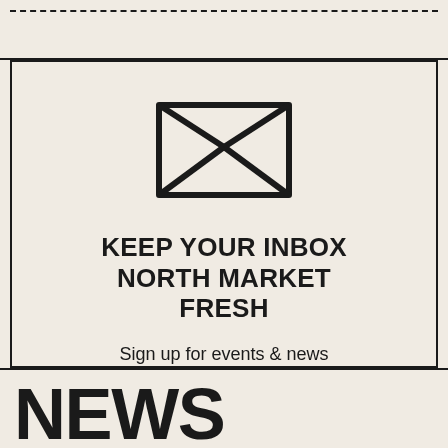[Figure (illustration): Envelope icon — a rectangle with an X formed by diagonal lines from corners and a V-shaped flap at top]
KEEP YOUR INBOX NORTH MARKET FRESH
Sign up for events & news from your North Market.
SIGN UP
NEWS